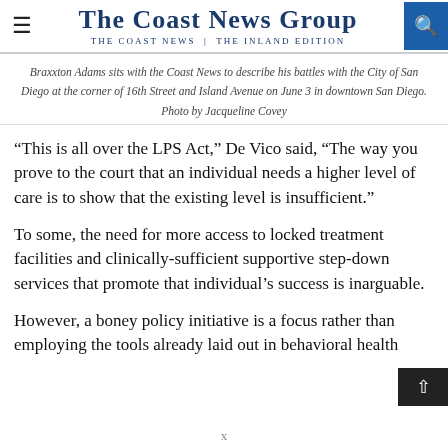The Coast News Group — The Coast News | The Inland Edition
Braxxton Adams sits with the Coast News to describe his battles with the City of San Diego at the corner of 16th Street and Island Avenue on June 3 in downtown San Diego. Photo by Jacqueline Covey
“This is all over the LPS Act,” De Vico said, “The way you prove to the court that an individual needs a higher level of care is to show that the existing level is insufficient.”
To some, the need for more access to locked treatment facilities and clinically-sufficient supportive step-down services that promote that individual’s success is inarguable.
However, a boney policy initiative is a focus rather than employing the tools already laid out in behavioral health